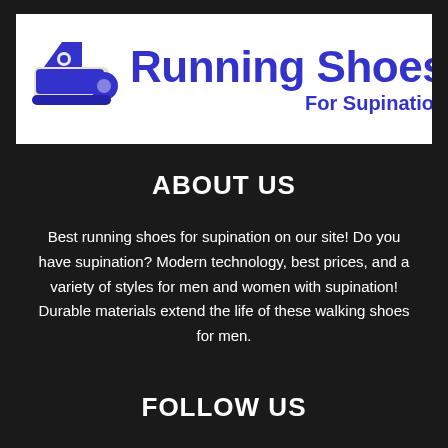[Figure (logo): Running Shoes For Supination logo with blue sneaker icon and bold blue text]
ABOUT US
Best running shoes for supination on our site! Do you have supination? Modern technology, best prices, and a variety of styles for men and women with supination! Durable materials extend the life of these walking shoes for men.
FOLLOW US